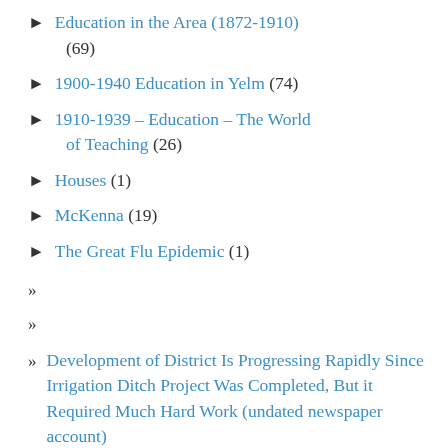Education in the Area (1872-1910) (69)
1900-1940 Education in Yelm (74)
1910-1939 – Education – The World of Teaching (26)
Houses (1)
McKenna (19)
The Great Flu Epidemic (1)
»
»
» Development of District Is Progressing Rapidly Since Irrigation Ditch Project Was Completed, But it Required Much Hard Work (undated newspaper account)